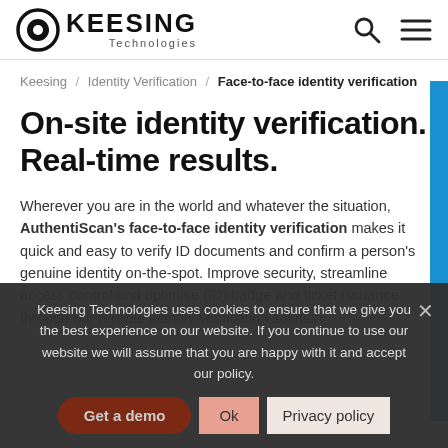Keesing Technologies — logo and navigation header
Keesing / Identity Verification / Face-to-face identity verification
On-site identity verification. Real-time results.
Wherever you are in the world and whatever the situation, AuthentiScan's face-to-face identity verification makes it quick and easy to verify ID documents and confirm a person's genuine identity on-the-spot. Improve security, streamline access control and optimise (ID) badge and ticket issuance through our reliable identity verification solution.
Keesing Technologies uses cookies to ensure that we give you the best experience on our website. If you continue to use our website we will assume that you are happy with it and accept our policy.
Get a demo
Ok
Privacy policy